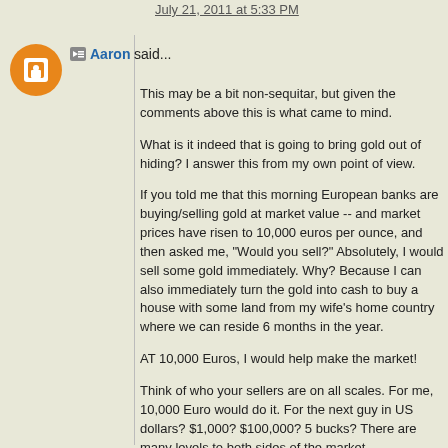July 21, 2011 at 5:33 PM
Aaron said...
This may be a bit non-sequitar, but given the comments above this is what came to mind.

What is it indeed that is going to bring gold out of hiding? I answer this from my own point of view.

If you told me that this morning European banks are buying/selling gold at market value -- and market prices have risen to 10,000 euros per ounce, and then asked me, "Would you sell?" Absolutely, I would sell some gold immediately. Why? Because I can also immediately turn the gold into cash to buy a house with some land from my wife's home country where we can reside 6 months in the year.

AT 10,000 Euros, I would help make the market!

Think of who your sellers are on all scales. For me, 10,000 Euro would do it. For the next guy in US dollars? $1,000? $100,000? 5 bucks? There are many levels to both sides of the market.

--Aaron